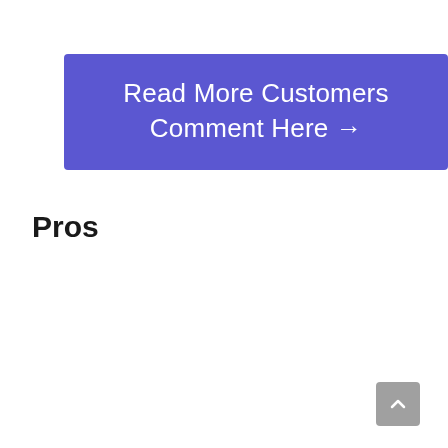[Figure (other): Blue/purple banner button with text 'Read More Customers Comment Here →']
Pros
[Figure (other): Gray scroll-to-top button with upward chevron arrow in bottom right corner]